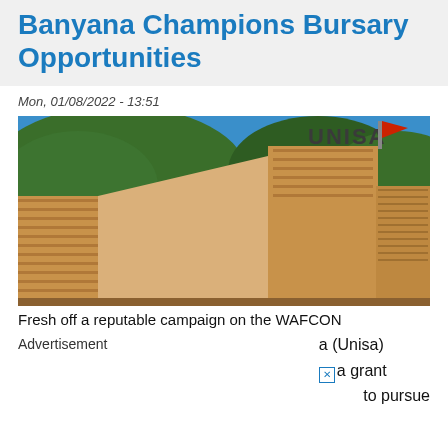Banyana Champions Bursary Opportunities
Mon, 01/08/2022 - 13:51
[Figure (photo): Exterior photograph of the UNISA (University of South Africa) building, a large multi-storey terracotta/sandy brick structure with the UNISA logo and name visible on the facade, set against a blue sky with green trees in the background.]
Fresh off a reputable campaign on the WAFCON
Advertisement
a (Unisa)
a grant
to pursue